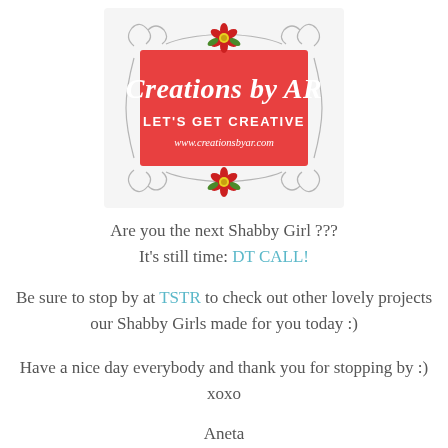[Figure (logo): Creations by AR logo — red rectangular background with decorative gray scrollwork border, red flowers top and bottom center, white script text 'Creations by AR', white bold text 'LET'S GET CREATIVE', white serif text 'www.creationsbyar.com']
Are you the next Shabby Girl ???
It's still time: DT CALL!
Be sure to stop by at TSTR to check out other lovely projects our Shabby Girls made for you today :)
Have a nice day everybody and thank you for stopping by :)
xoxo
Aneta